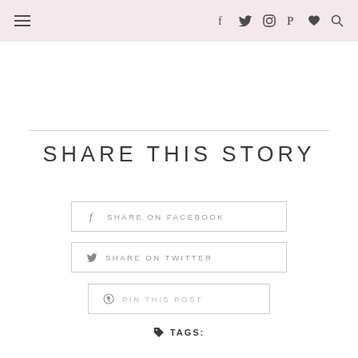Navigation bar with hamburger menu and social icons: f (Facebook), Twitter bird, Instagram camera, Pinterest P, heart, search
SHARE THIS STORY
f  SHARE ON FACEBOOK
Twitter  SHARE ON TWITTER
Pinterest  PIN THIS POST
TAGS: